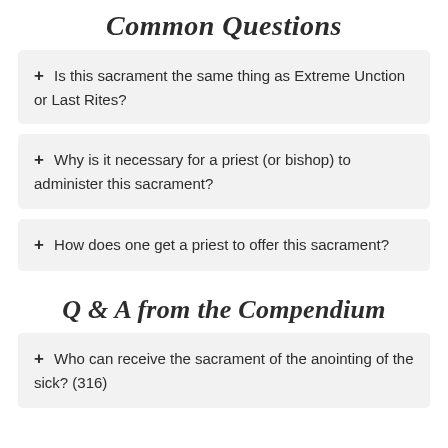Common Questions
+ Is this sacrament the same thing as Extreme Unction or Last Rites?
+ Why is it necessary for a priest (or bishop) to administer this sacrament?
+ How does one get a priest to offer this sacrament?
Q & A from the Compendium
+ Who can receive the sacrament of the anointing of the sick? (316)